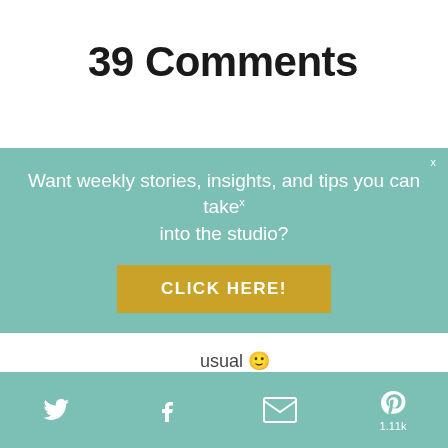39 Comments
[Figure (infographic): Teal promotional banner overlay with text 'Want weekly stories, insights, and tips you can take into the studio?' and a yellow 'CLICK HERE!' button, with an X close button]
usual 🙂
Reply
Tara on February 16 at 12:10 pm
[Figure (photo): Circular avatar photo of a woman with blonde hair]
Thank you Erica! So pleased to
This website uses cookies to improve your experience. By continuing to use this site, you agree to our use of
[Figure (infographic): Teal social sharing bar at bottom with Twitter, Facebook, email, and Pinterest icons. Pinterest shows count 1.11k]